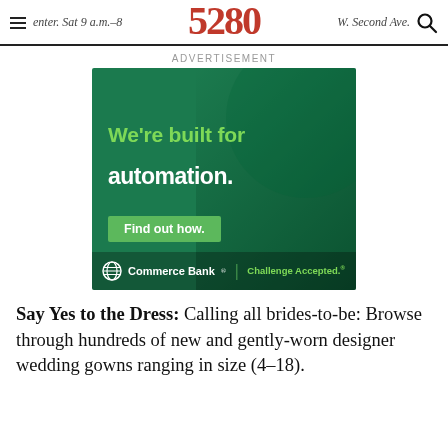≡ enter. Sat 9 a.m.–8 5280 W. Second Ave. 🔍
ADVERTISEMENT
[Figure (photo): Commerce Bank advertisement with dark green background and a person. Text reads: 'We're built for automation. Find out how.' Commerce Bank | Challenge Accepted.]
Say Yes to the Dress: Calling all brides-to-be: Browse through hundreds of new and gently-worn designer wedding gowns ranging in size (4–18).